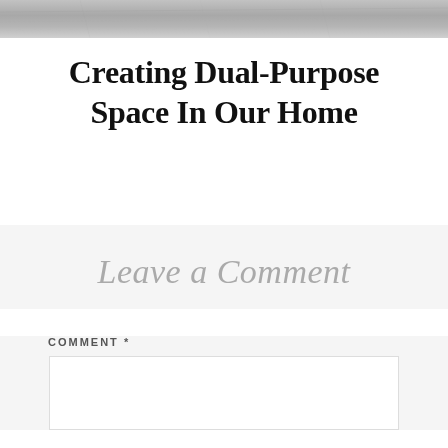[Figure (photo): Top banner image showing a textured gray stone or concrete surface, cropped at the top of the page.]
Creating Dual-Purpose Space In Our Home
Leave a Comment
COMMENT *